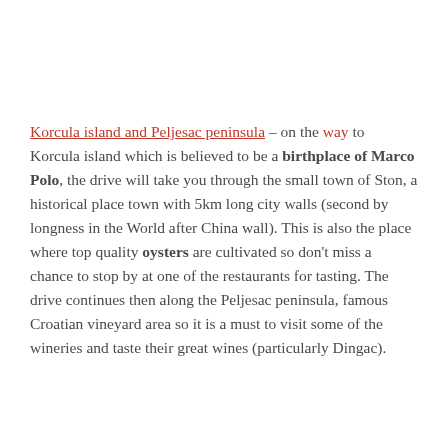Korcula island and Peljesac peninsula – on the way to Korcula island which is believed to be a birthplace of Marco Polo, the drive will take you through the small town of Ston, a historical place town with 5km long city walls (second by longness in the World after China wall). This is also the place where top quality oysters are cultivated so don't miss a chance to stop by at one of the restaurants for tasting. The drive continues then along the Peljesac peninsula, famous Croatian vineyard area so it is a must to visit some of the wineries and taste their great wines (particularly Dingac).